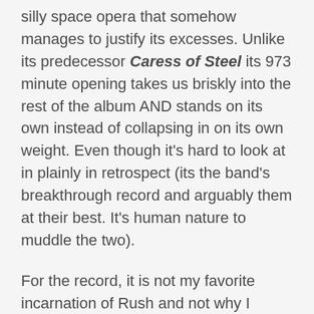silly space opera that somehow manages to justify its excesses. Unlike its predecessor Caress of Steel its 973 minute opening takes us briskly into the rest of the album AND stands on its own instead of collapsing in on its own weight. Even though it's hard to look at in plainly in retrospect (its the band's breakthrough record and arguably them at their best. It's human nature to muddle the two).
For the record, it is not my favorite incarnation of Rush and not why I signed on 35 years ago. I was barely in a full set of clothes in 1976 and my earliest memories of the band are when they'd left this stuff far behind. Still, I admire their nerve here as a young band and how well these epic pieces hold up live if not in fashion